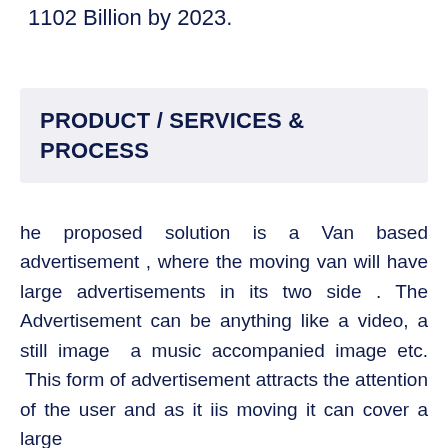1102 Billion by 2023.
PRODUCT / SERVICES & PROCESS
he proposed solution is a Van based advertisement , where the moving van will have large advertisements in its two side . The Advertisement can be anything like a video, a still image  a music accompanied image etc.  This form of advertisement attracts the attention of the user and as it iis moving it can cover a large